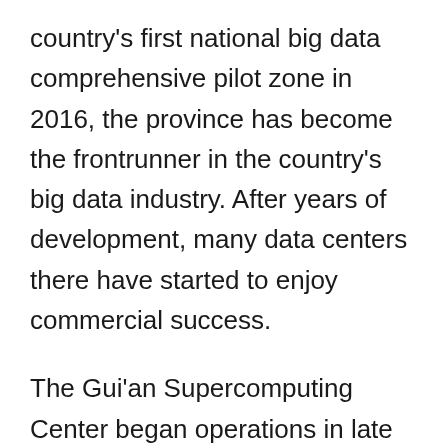country's first national big data comprehensive pilot zone in 2016, the province has become the frontrunner in the country's big data industry. After years of development, many data centers there have started to enjoy commercial success.
The Gui'an Supercomputing Center began operations in late 2020. With 537 servers and 1,000 high-performance graphics processors, the center boasts a combined computing power of 13.4 quadrillion floating-point operations per second, ranking third among data